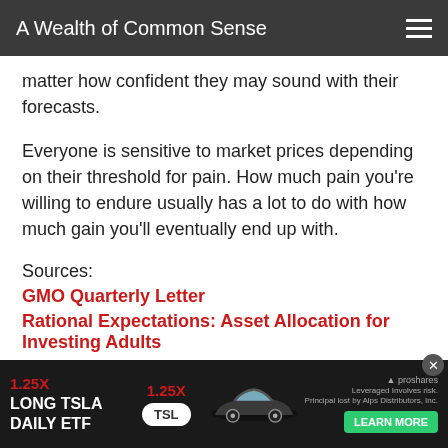A Wealth of Common Sense
matter how confident they may sound with their forecasts.
Everyone is sensitive to market prices depending on their threshold for pain. How much pain you're willing to endure usually has a lot to do with how much gain you'll eventually end up with.
Sources:
GMO Quarterly Letter
Rational Expectations: Asset Allocation for Investing Adults
Further Reading:
What C... ket?
[Figure (other): Advertisement banner for 1.25X Long TSLA Daily ETF (TSL) by ProShares with Learn More button and a Tesla car image]